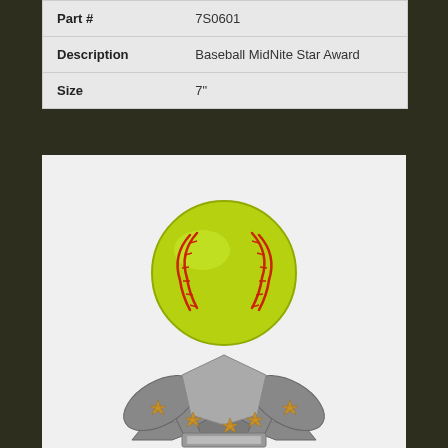| Part # | 7S0601 |
| Description | Baseball MidNite Star Award |
| Size | 7" |
[Figure (photo): Baseball MidNite Star Award trophy with yellow-green softball ball on top of silver star-shaped base with gold stars]